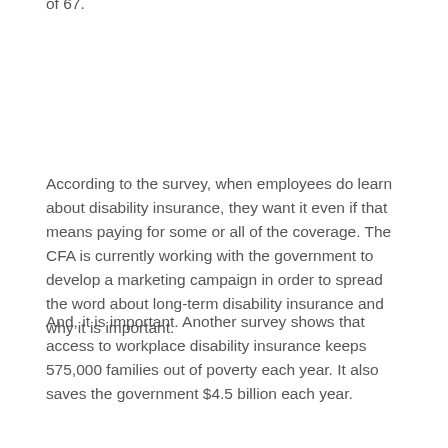of 67.
According to the survey, when employees do learn about disability insurance, they want it even if that means paying for some or all of the coverage. The CFA is currently working with the government to develop a marketing campaign in order to spread the word about long-term disability insurance and why it is important.
And, it is important. Another survey shows that access to workplace disability insurance keeps 575,000 families out of poverty each year. It also saves the government $4.5 billion each year.
However, like with any kind of insurance, it is only good if the insurer makes good on claims. It is important not only for Wisconsin residents to maintain coverage, but also for insurers to honor their policies. Unfortunately, claimants do not always receive the benefits that they are entitled to, but there are advocates who can help keep these companies honest.